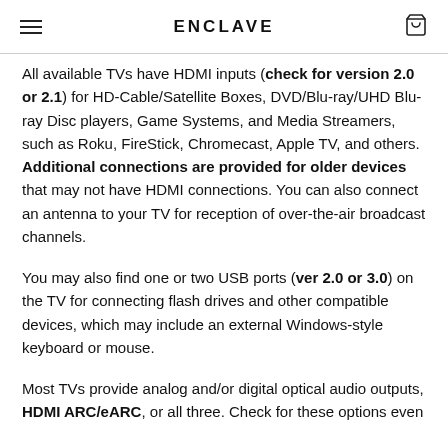ENCLAVE
All available TVs have HDMI inputs (check for version 2.0 or 2.1) for HD-Cable/Satellite Boxes, DVD/Blu-ray/UHD Blu-ray Disc players, Game Systems, and Media Streamers, such as Roku, FireStick, Chromecast, Apple TV, and others. Additional connections are provided for older devices that may not have HDMI connections. You can also connect an antenna to your TV for reception of over-the-air broadcast channels.
You may also find one or two USB ports (ver 2.0 or 3.0) on the TV for connecting flash drives and other compatible devices, which may include an external Windows-style keyboard or mouse.
Most TVs provide analog and/or digital optical audio outputs, HDMI ARC/eARC, or all three. Check for these options even